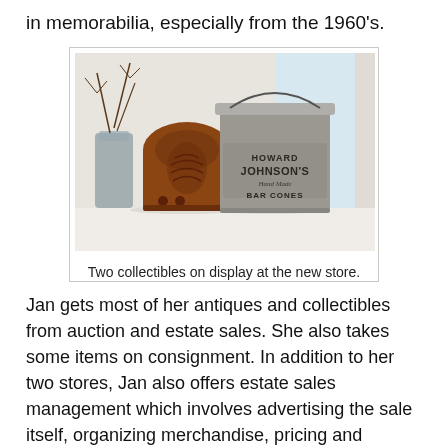in memorabilia, especially from the 1960's.
[Figure (photo): Two vintage collectibles on a white shelf: a wooden arch-shaped radio on the left and a large grey tin bucket labeled 'Howard Johnson's Hand Made Bar Cones' on the right, with decorative branches in a glass jar behind them.]
Two collectibles on display at the new store.
Jan gets most of her antiques and collectibles from auction and estate sales. She also takes some items on consignment. In addition to her two stores, Jan also offers estate sales management which involves advertising the sale itself, organizing merchandise, pricing and staging a home in order to maximize the value of it's assets.
The new store is currently open Friday to Sunday to start.